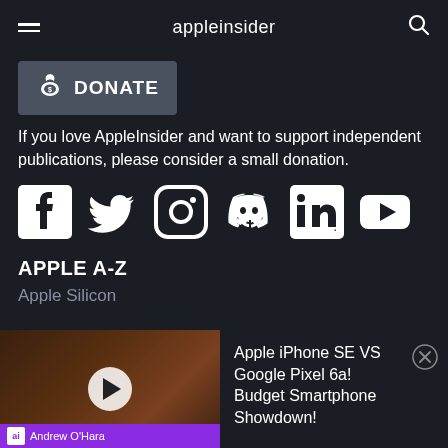appleinsider
[Figure (other): Donate button with money bag icon and DONATE label on dark background]
If you love AppleInsider and want to support independent publications, please consider a small donation.
[Figure (other): Row of social media icons: Facebook, Twitter, Instagram, Discord, LinkedIn, YouTube]
APPLE A-Z
Apple Silicon
[Figure (screenshot): Video player bar showing Apple iPhone SE VS Google Pixel 6a Budget Smartphone Showdown video, with Andrew O'Hara author label]